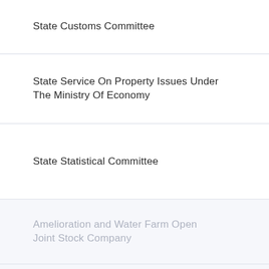State Customs Committee
State Service On Property Issues Under The Ministry Of Economy
State Statistical Committee
Amelioration and Water Farm Open Joint Stock Company
Azerbaijan Mortgage Fund